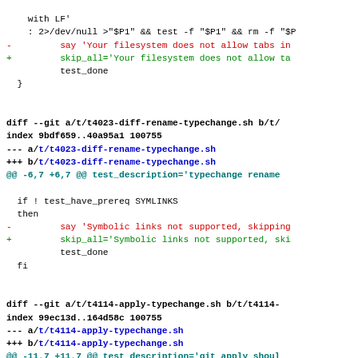Code diff showing changes to t4023-diff-rename-typechange.sh and t4114-apply-typechange.sh
diff --git a/t/t4023-diff-rename-typechange.sh b/t/
index 9bdf659..40a95a1 100755
--- a/t/t4023-diff-rename-typechange.sh
+++ b/t/t4023-diff-rename-typechange.sh
@@ -6,7 +6,7 @@ test_description='typechange rename
diff --git a/t/t4114-apply-typechange.sh b/t/t4114-
index 99ec13d..164d58c 100755
--- a/t/t4114-apply-typechange.sh
+++ b/t/t4114-apply-typechange.sh
@@ -11,7 +11,7 @@ test_description='git apply shoul